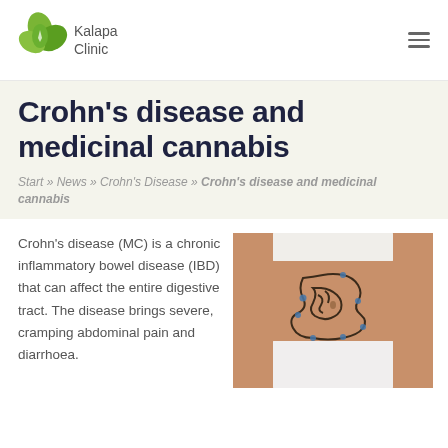Kalapa Clinic
Crohn's disease and medicinal cannabis
Start » News » Crohn's Disease » Crohn's disease and medicinal cannabis
Crohn's disease (MC) is a chronic inflammatory bowel disease (IBD) that can affect the entire digestive tract. The disease brings severe, cramping abdominal pain and diarrhoea.
[Figure (photo): Torso of a person in white underwear with a drawn digestive tract/intestine illustration on the abdomen]